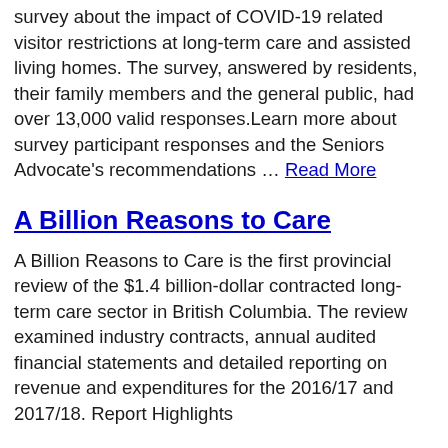survey about the impact of COVID-19 related visitor restrictions at long-term care and assisted living homes. The survey, answered by residents, their family members and the general public, had over 13,000 valid responses.Learn more about survey participant responses and the Seniors Advocate's recommendations … Read More
A Billion Reasons to Care
A Billion Reasons to Care is the first provincial review of the $1.4 billion-dollar contracted long-term care sector in British Columbia. The review examined industry contracts, annual audited financial statements and detailed reporting on revenue and expenditures for the 2016/17 and 2017/18. Report Highlights